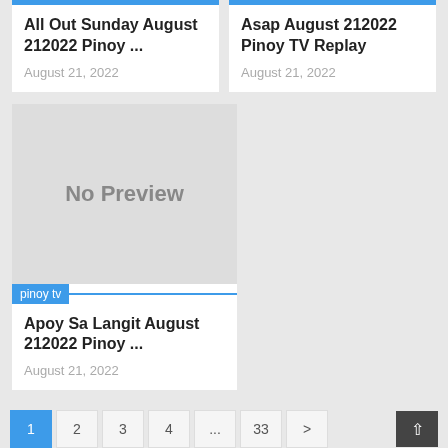All Out Sunday August 212022 Pinoy ...
August 21, 2022
Asap August 212022 Pinoy TV Replay
August 21, 2022
[Figure (other): No Preview image placeholder with grey background]
pinoy tv
Apoy Sa Langit August 212022 Pinoy ...
August 21, 2022
1  2  3  4  ...  33  >